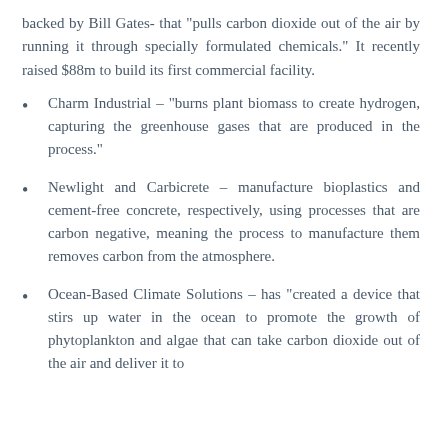backed by Bill Gates- that "pulls carbon dioxide out of the air by running it through specially formulated chemicals." It recently raised $88m to build its first commercial facility.
Charm Industrial – "burns plant biomass to create hydrogen, capturing the greenhouse gases that are produced in the process."
Newlight and Carbicrete – manufacture bioplastics and cement-free concrete, respectively, using processes that are carbon negative, meaning the process to manufacture them removes carbon from the atmosphere.
Ocean-Based Climate Solutions – has "created a device that stirs up water in the ocean to promote the growth of phytoplankton and algae that can take carbon dioxide out of the air and deliver it to